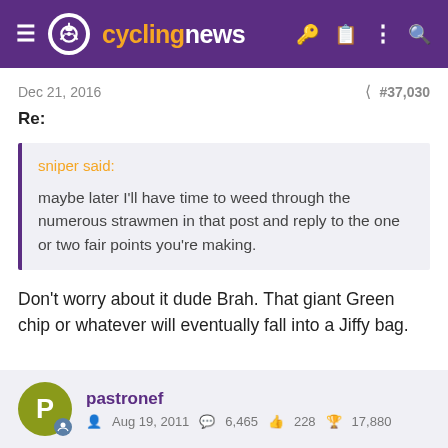cyclingnews
Dec 21, 2016   #37,030
Re:
sniper said:

maybe later I'll have time to weed through the numerous strawmen in that post and reply to the one or two fair points you're making.
Don't worry about it dude Brah. That giant Green chip or whatever will eventually fall into a Jiffy bag.
pastronef  Aug 19, 2011  6,465  228  17,880